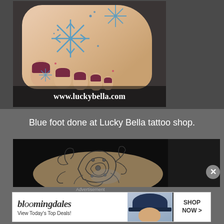[Figure (photo): Close-up photo of a human foot with blue snowflake tattoos on top, purple/dark red nail polish on toes, against a dark background. Watermark text 'www.luckybella.com' overlaid at bottom of image.]
Blue foot done at Lucky Bella tattoo shop.
[Figure (photo): Close-up photo of an ankle with a detailed black and grey mandala/floral tattoo design, against a dark background.]
Advertisement
[Figure (screenshot): Bloomingdale's advertisement banner. Shows 'bloomingdales' logo, 'View Today's Top Deals!' tagline, a woman wearing a large dark hat, and a 'SHOP NOW >' button.]